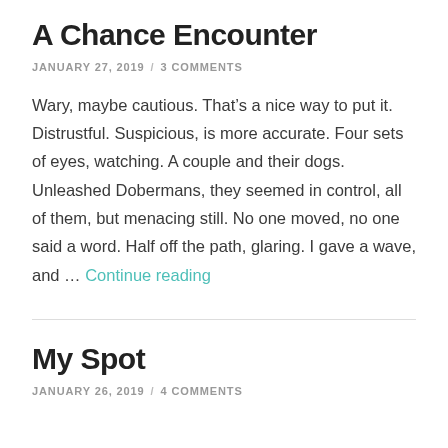A Chance Encounter
JANUARY 27, 2019  /  3 COMMENTS
Wary, maybe cautious. That’s a nice way to put it. Distrustful. Suspicious, is more accurate. Four sets of eyes, watching. A couple and their dogs. Unleashed Dobermans, they seemed in control, all of them, but menacing still. No one moved, no one said a word. Half off the path, glaring. I gave a wave, and … Continue reading
My Spot
JANUARY 26, 2019  /  4 COMMENTS